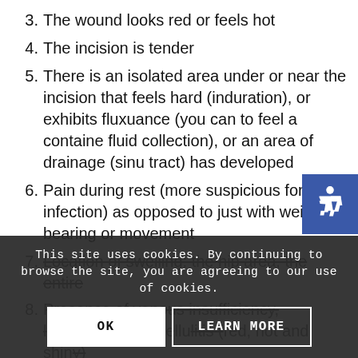3. The wound looks red or feels hot
4. The incision is tender
5. There is an isolated area under or near the incision that feels hard (induration), or exhibits fluxuance (you can to feel a contained fluid collection), or an area of drainage (sinus tract) has developed
6. Pain during rest (more suspicious for infection) as opposed to just with weight bearing or movement
7. Location of swelling: the hip area, the entire leg, or both legs
8. Presence of venous insufficiency, lymphedema or cellulitis (red, hot and shiny)
9. The redness easily blanches (looks pale or
This site uses cookies. By continuing to browse the site, you are agreeing to our use of cookies.